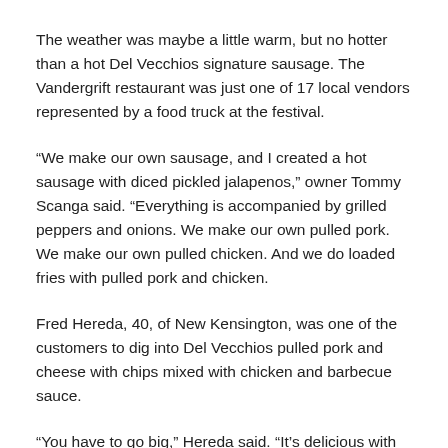The weather was maybe a little warm, but no hotter than a hot Del Vecchios signature sausage. The Vandergrift restaurant was just one of 17 local vendors represented by a food truck at the festival.
“We make our own sausage, and I created a hot sausage with diced pickled jalapenos,” owner Tommy Scanga said. “Everything is accompanied by grilled peppers and onions. We make our own pulled pork. We make our own pulled chicken. And we do loaded fries with pulled pork and chicken.
Fred Hereda, 40, of New Kensington, was one of the customers to dig into Del Vecchios pulled pork and cheese with chips mixed with chicken and barbecue sauce.
“You have to go big,” Hereda said. “It’s delicious with homemade barbecue sauce.”